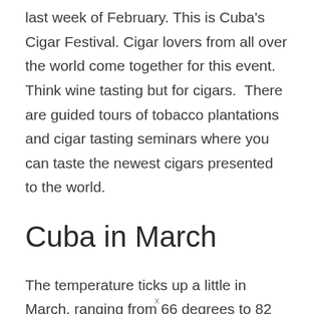last week of February. This is Cuba's Cigar Festival. Cigar lovers from all over the world come together for this event.  Think wine tasting but for cigars.  There are guided tours of tobacco plantations and cigar tasting seminars where you can taste the newest cigars presented to the world.
Cuba in March
The temperature ticks up a little in March, ranging from 66 degrees to 82 degrees.  There is a mix of